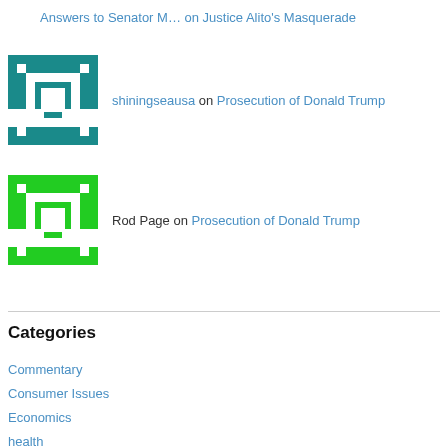Answers to Senator M… on Justice Alito's Masquerade
shiningseausa on Prosecution of Donald Trump
Rod Page on Prosecution of Donald Trump
Categories
Commentary
Consumer Issues
Economics
health
Health
Hiking
Law
Photos
Politics